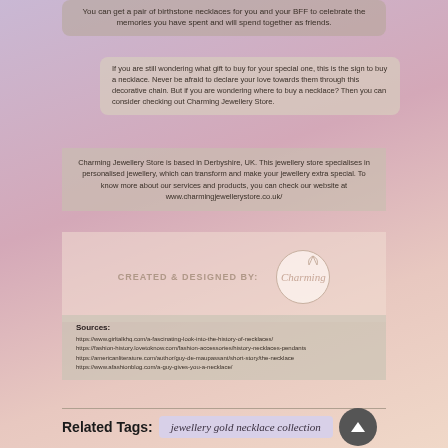You can get a pair of birthstone necklaces for you and your BFF to celebrate the memories you have spent and will spend together as friends.
If you are still wondering what gift to buy for your special one, this is the sign to buy a necklace. Never be afraid to declare your love towards them through this decorative chain. But if you are wondering where to buy a necklace? Then you can consider checking out Charming Jewellery Store.
Charming Jewellery Store is based in Derbyshire, UK. This jewellery store specialises in personalised jewellery, which can transform and make your jewellery extra special. To know more about our services and products, you can check our website at www.charmingjewellerystore.co.uk/
[Figure (logo): CREATED & DESIGNED BY: Charming Jewellery Store logo in circular design]
Sources:
https://www.girltalkhq.com/a-fascinating-look-into-the-history-of-necklaces/
https://fashion-history.lovetoknow.com/fashion-accessories/history-necklaces-pendants
https://americanliterature.com/author/guy-de-maupassant/short-story/the-necklace
https://www.afashionblog.com/a-guy-gives-you-a-necklace/
Related Tags:
jewellery gold necklace collection
jewellery gold necklace set
jewellery necklace